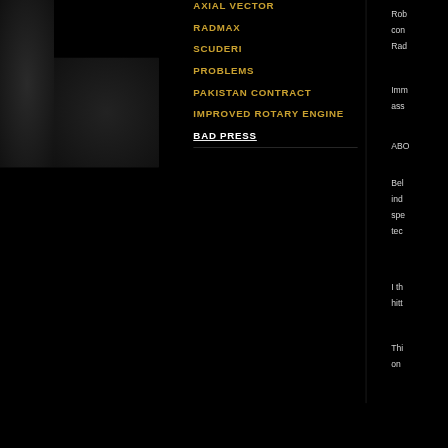AXIAL VECTOR
RADMAX
SCUDERI
PROBLEMS
PAKISTAN CONTRACT
IMPROVED ROTARY ENGINE
BAD PRESS
Rob con Rad
Imm ass
ABO
Bel ind spe tec
I th hitt
Thi on